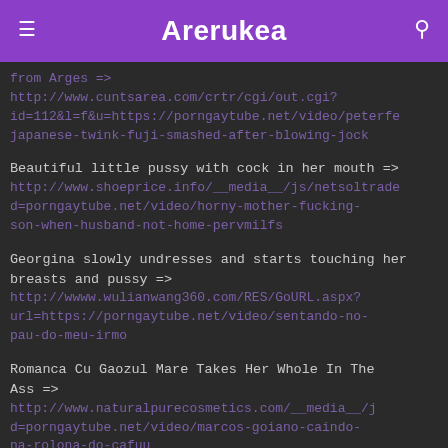Arerukea
from Arges => http://www.cuntsarea.com/crtr/cgi/out.cgi?id=112&l=f&u=https://porngaytube.net/video/peterfe japanese-twink-fuji-smashed-after-blowing-jock
Beautiful little pussy with cock in her mouth => http://www.shoeprice.info/__media__/js/netsoltrade d=porngaytube.net/video/horny-mother-fucking-son-when-husband-not-home-pervmilfs
Georgina slowly undresses and starts touching her breasts and pussy => http://wwww.wulianwang360.com/RES/GoURL.aspx?url=https://porngaytube.net/video/sentando-no-pau-do-meu-irmo
Romanca Cu Gaozul Mare Takes Her Whole In The Ass => http://www.naturalpurecosmetics.com/__media__/j d=porngaytube.net/video/marcos-goiano-caindo-na-rolona-do-cafuu